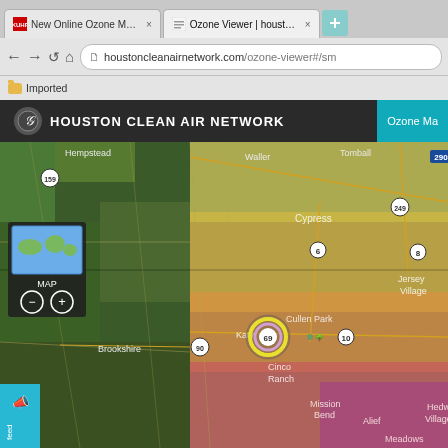[Figure (screenshot): Browser screenshot showing the Houston Clean Air Network Ozone Viewer website at houstoncleanairnetwork.com/ozone-viewer. The page shows a Google Maps-style aerial/satellite map of the Houston area overlaid with an ozone concentration heat map. The heat map uses a color gradient from yellow-green (lower ozone) in the northwest to orange-red-purple (higher ozone) in the southeast. Place labels visible include Hempstead, Waller, Cypress, Jersey Village, Brookshire, Katy, Cullen Park, Cinco Ranch, Mission Bend, Alief, Hedwig Village, and Meadows. Highway numbers visible include 159, 290, 249, 90, 10, 6, 8. A sensor marker near Katy shows a reading of 69. A minimap control and zoom controls are visible in the upper left. The browser shows two tabs: 'New Online Ozone Map Will H...' and 'Ozone Viewer | houstonclear...' (active). The address bar shows houstoncleanairnetwork.com/ozone-viewer#/sm. Bookmarks bar shows 'Imported'.]